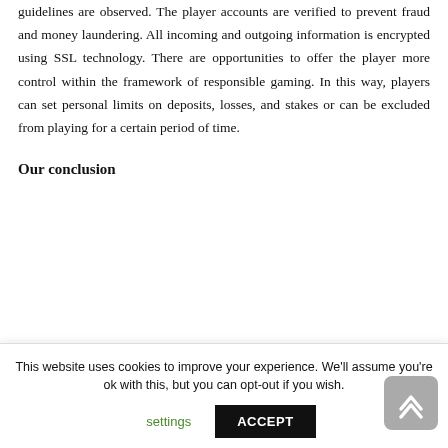guidelines are observed. The player accounts are verified to prevent fraud and money laundering. All incoming and outgoing information is encrypted using SSL technology. There are opportunities to offer the player more control within the framework of responsible gaming. In this way, players can set personal limits on deposits, losses, and stakes or can be excluded from playing for a certain period of time.
Our conclusion
This website uses cookies to improve your experience. We'll assume you're ok with this, but you can opt-out if you wish.